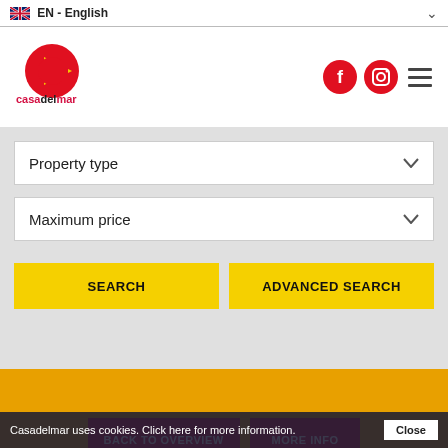🇬🇧 EN - English
[Figure (logo): Casadelmar property consulting logo - red C with yellow arrow, text casadelmar property consulting below]
[Figure (other): Social media icons: Facebook (red circle with f), Instagram (red circle with camera icon), and hamburger menu icon]
Property type
Maximum price
SEARCH
ADVANCED SEARCH
BACK TO OVERVIEW
MORE INFO
ADD TO FAVOURITES
Casadelmar uses cookies. Click here for more information.
Close